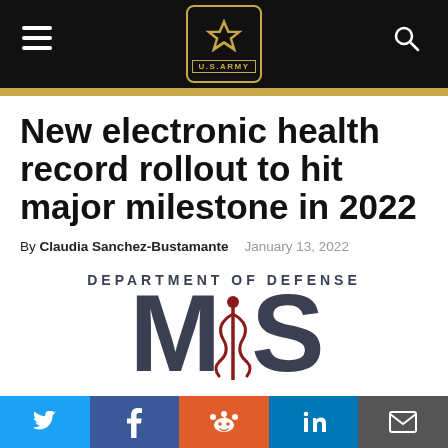[Figure (logo): U.S. Army star logo with gold border and 'U.S. ARMY' text, on black navigation bar with hamburger menu and search icon]
New electronic health record rollout to hit major milestone in 2022
By Claudia Sanchez-Bustamante    January 13, 2022
[Figure (illustration): Department of Defense MHS (Military Health System) logo banner with large grey letters MHS and caduceus medical symbol in dark red]
[Figure (infographic): Social sharing bar with Twitter, Facebook, Reddit, LinkedIn, and Email buttons]